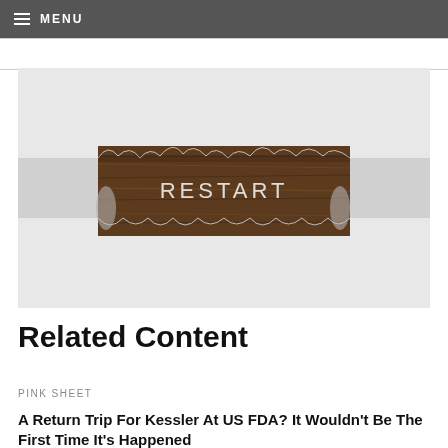MENU
[Figure (photo): Torn paper revealing word RESTART on a wooden background]
Related Content
PINK SHEET
A Return Trip For Kessler At US FDA? It Wouldn't Be The First Time It's Happened